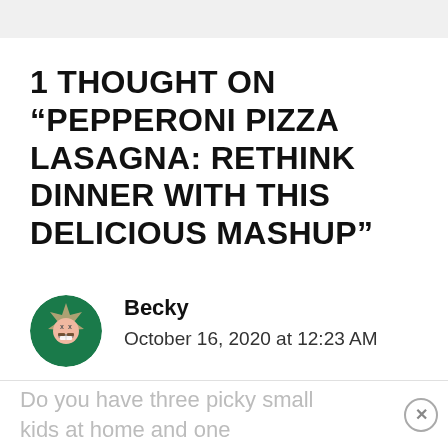1 THOUGHT ON “PEPPERONI PIZZA LASAGNA: RETHINK DINNER WITH THIS DELICIOUS MASHUP”
[Figure (illustration): Circular avatar icon with a dark green background showing a cartoon face with a mustache and star-like design, resembling a styled mascot emoji]
Becky
October 16, 2020 at 12:23 AM
Do you have three picky small kids at home and one